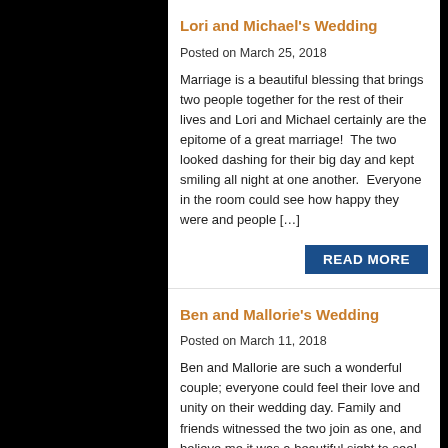Lori and Michael's Wedding
Posted on March 25, 2018
Marriage is a beautiful blessing that brings two people together for the rest of their lives and Lori and Michael certainly are the epitome of a great marriage!  The two looked dashing for their big day and kept smiling all night at one another.  Everyone in the room could see how happy they were and people […]
READ MORE
Ben and Mallorie's Wedding
Posted on March 11, 2018
Ben and Mallorie are such a wonderful couple; everyone could feel their love and unity on their wedding day. Family and friends witnessed the two join as one, and believe me it was a beautiful sight to see! On The Go Photo Booths was such a hit as guests lined up to take fun photos, record…